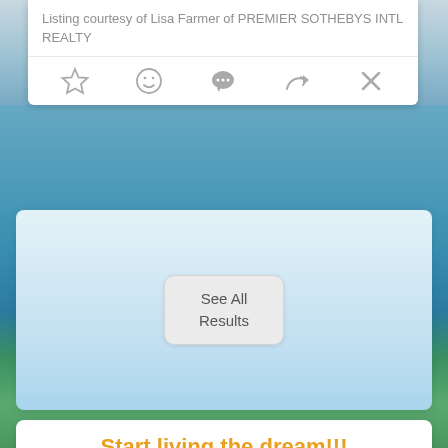Listing courtesy of Lisa Farmer of PREMIER SOTHEBYS INTL REALTY
[Figure (screenshot): Row of action icons: star (favorite), smiley face, chat bubble, share arrow, close X]
[Figure (screenshot): Light blue gradient background area with a 'See All Results' button in the center]
See All Results
Start living the dream!!!
Primary, vacation, or investment
Properties Available For Sale